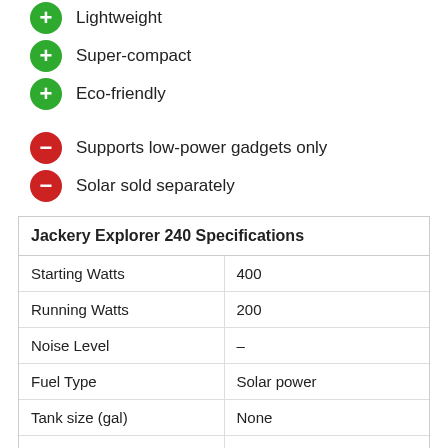Lightweight
Super-compact
Eco-friendly
Supports low-power gadgets only
Solar sold separately
| Jackery Explorer 240 Specifications |  |
| --- | --- |
| Starting Watts | 400 |
| Running Watts | 200 |
| Noise Level | – |
| Fuel Type | Solar power |
| Tank size (gal) | None |
| Run Time | 7 hrs |
| Dimensions (in) | 9.05 x 5.24 x 7.8 |
| Weight (lbs) | 6.6 |